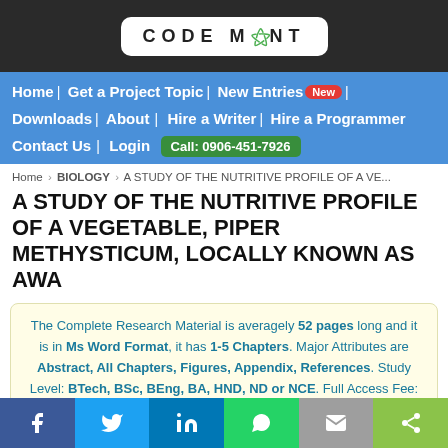CODE MINT
Home | Get a Project Topic | New Entries New | Downloads | About | Hire a Writer | Hire a Programmer | Contact Us | Login Call: 0906-451-7926
Home > BIOLOGY > A STUDY OF THE NUTRITIVE PROFILE OF A VE...
A STUDY OF THE NUTRITIVE PROFILE OF A VEGETABLE, PIPER METHYSTICUM, LOCALLY KNOWN AS AWA
The Complete Research Material is averagely 52 pages long and it is in Ms Word Format, it has 1-5 Chapters. Major Attributes are Abstract, All Chapters, Figures, Appendix, References. Study Level: BTech, BSc, BEng, BA, HND, ND or NCE. Full Access Fee: ₦4,000
Facebook | Twitter | LinkedIn | WhatsApp | Email | Share